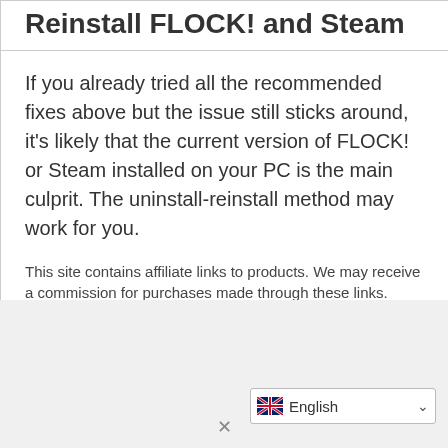Reinstall FLOCK! and Steam
If you already tried all the recommended fixes above but the issue still sticks around, it's likely that the current version of FLOCK! or Steam installed on your PC is the main culprit. The uninstall-reinstall method may work for you.
This site contains affiliate links to products. We may receive a commission for purchases made through these links.
FLOCK!